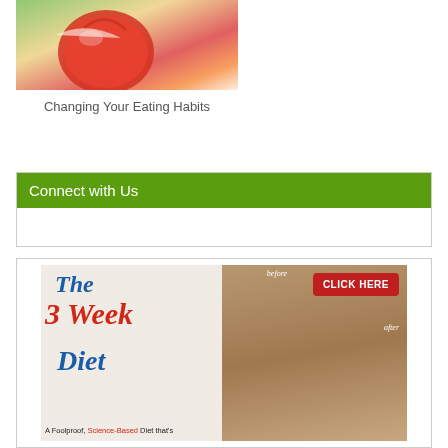[Figure (photo): Person biting into a red apple, close-up photo with green background]
Changing Your Eating Habits
Connect with Us
[Figure (photo): Advertisement for The 3 Week Diet - A Foolproof, Science-Based Diet, showing before and after photos with a CLICK HERE button]